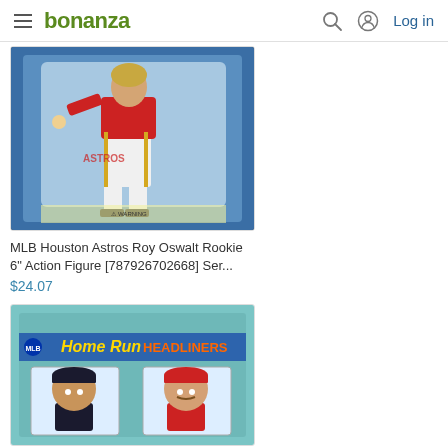bonanza — Log in
[Figure (photo): MLB Houston Astros Roy Oswalt action figure in packaging — baseball player in pitching stance wearing red Astros uniform, figure in blister pack on blue card]
MLB Houston Astros Roy Oswalt Rookie 6" Action Figure [787926702668] Ser...
$24.07
[Figure (photo): Home Run Headliners MLB bobblehead set in box — teal/light blue packaging showing two player bobbleheads side by side]